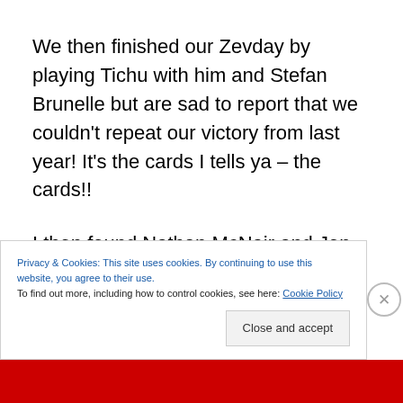We then finished our Zevday by playing Tichu with him and Stefan Brunelle but are sad to report that we couldn't repeat our victory from last year! It's the cards I tells ya – the cards!!
I then found Nathan McNair and Jon Gilmour to show them Skirmishes, a game I designed with Shad Miller. I was excited about this pitch because this game seemed like a good match for this publisher. JF Gagne from Panda [continues below fold]
Privacy & Cookies: This site uses cookies. By continuing to use this website, you agree to their use.
To find out more, including how to control cookies, see here: Cookie Policy
Close and accept